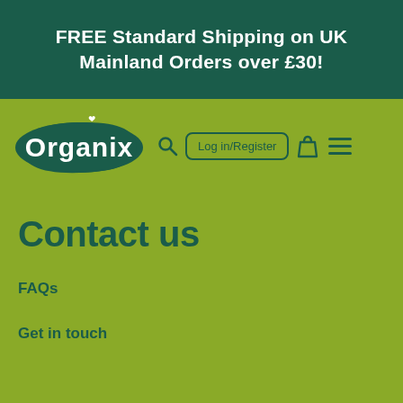FREE Standard Shipping on UK Mainland Orders over £30!
[Figure (logo): Organix brand logo — white text 'Organix' with a small heart above the letter i, inside a dark green rounded bean/pebble shape]
Log in/Register
Contact us
FAQs
Get in touch